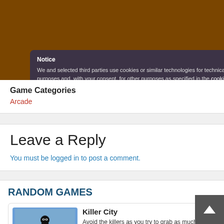[Figure (screenshot): Dark brown background game website header area]
Notice
We and selected third parties use cookies or similar technologies for technical purposes and, with your consent, for other purposes as specified in the cookie po...
Game Categories
Arcade
Leave a Reply
You must be logged in to post a comment.
RANDOM GAMES
Killer City
Avoid the killers as you try to grab as much cash as possible. The sequel to Stick City, this time you need to avoid the killers and the vehicles for as long as possible. Pick up the baseball bat to help defend yourself. Use mouse or finger to